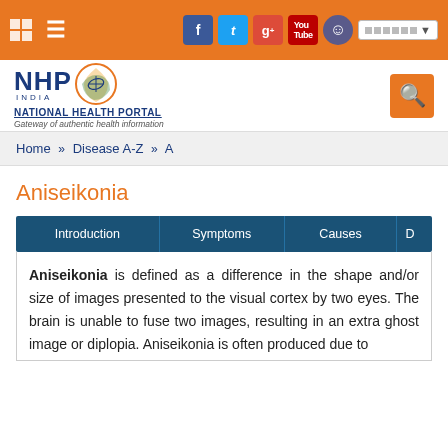[Figure (screenshot): NHP India National Health Portal website header with orange top navigation bar containing social media icons (Facebook, Twitter, Google+, YouTube), user icon, and language selector. Below is the site logo with NHP India branding, search button, and breadcrumb navigation: Home » Disease A-Z » A]
Aniseikonia
Introduction | Symptoms | Causes | D...
Aniseikonia is defined as a difference in the shape and/or size of images presented to the visual cortex by two eyes. The brain is unable to fuse two images, resulting in an extra ghost image or diplopia. Aniseikonia is often produced due to